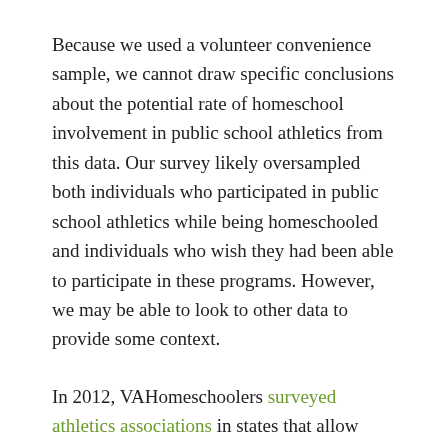Because we used a volunteer convenience sample, we cannot draw specific conclusions about the potential rate of homeschool involvement in public school athletics from this data. Our survey likely oversampled both individuals who participated in public school athletics while being homeschooled and individuals who wish they had been able to participate in these programs. However, we may be able to look to other data to provide some context.
In 2012, VAHomeschoolers surveyed athletics associations in states that allow homeschooled students to participate in public school athletics programs; most associations reported that public school athletics programs in their state had a minimal number of homeschool participants. No